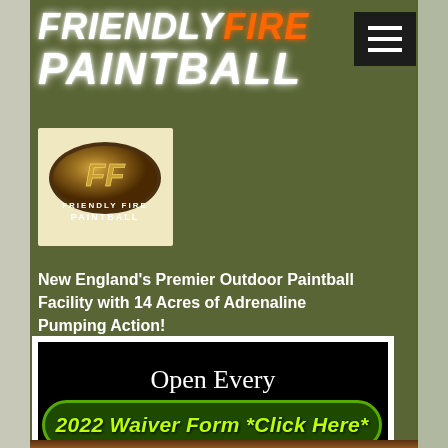FRIENDLY FIRE PAINTBALL
[Figure (logo): Friendly Fire Paintball logo — oval metallic emblem with FF letters and 'FRIENDLY FIRE PAINTBALL' text below]
New England's Premier Outdoor Paintball Facility with 14 Acres of Adrenaline Pumping Action!
Open Every Saturday & Sunday
2022 Waiver Form *Click Here*